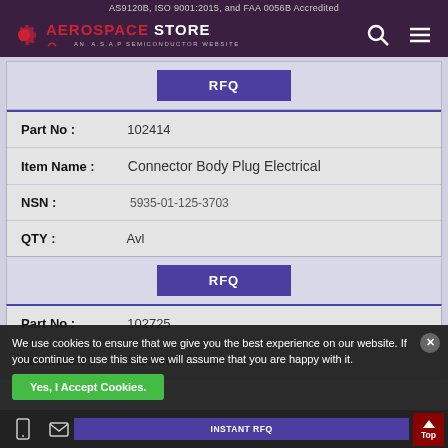AS9120B, ISO 9001:2015, and FAA 0056B Accredited
[Figure (logo): Aerospace Store logo - gear icon with red and white brand name, AN A.S.A.P Semiconductor Website]
| Field | Value |
| --- | --- |
| Part No : | 102414 |
| Item Name : | Connector Body Plug Electrical |
| NSN : | 5935-01-125-3703 |
| QTY : | Avl |
| Field | Value |
| --- | --- |
| Part No : | 102725 |
| Item Name : | Insulator Plate |
We use cookies to ensure that we give you the best experience on our website. If you continue to use this site we will assume that you are happy with it.